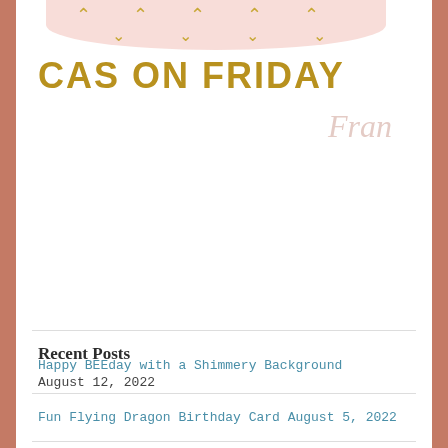[Figure (illustration): Blog header graphic with pink watercolor background shape, gold chevron arrows pointing up and down in rows, large gold uppercase text 'CAS ON FRIDAY', and light pink cursive 'Fran' text]
Recent Posts
Happy BEEday with a Shimmery Background
August 12, 2022
Fun Flying Dragon Birthday Card August 5, 2022